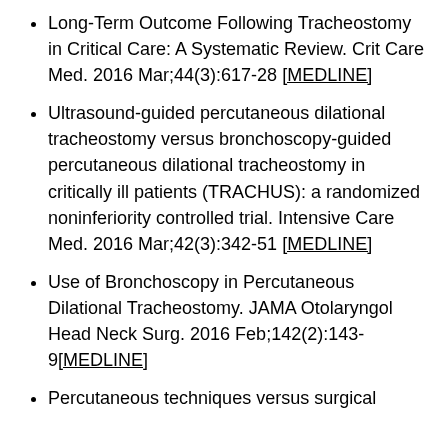Long-Term Outcome Following Tracheostomy in Critical Care: A Systematic Review. Crit Care Med. 2016 Mar;44(3):617-28 [MEDLINE]
Ultrasound-guided percutaneous dilational tracheostomy versus bronchoscopy-guided percutaneous dilational tracheostomy in critically ill patients (TRACHUS): a randomized noninferiority controlled trial. Intensive Care Med. 2016 Mar;42(3):342-51 [MEDLINE]
Use of Bronchoscopy in Percutaneous Dilational Tracheostomy. JAMA Otolaryngol Head Neck Surg. 2016 Feb;142(2):143-9[MEDLINE]
Percutaneous techniques versus surgical